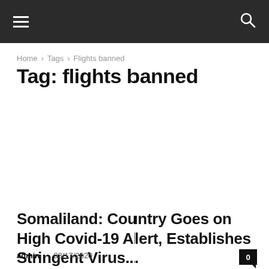≡  🔍
Home › Tags › Flights banned
Tag: flights banned
Somaliland: Country Goes on High Covid-19 Alert, Establishes Stringent Virus...
admin – 03/17/2020